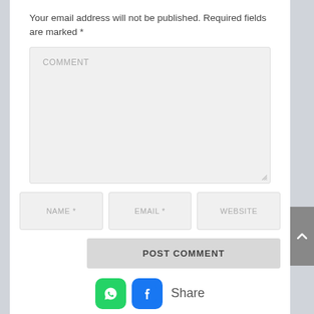Your email address will not be published. Required fields are marked *
[Figure (screenshot): Comment textarea input field with label COMMENT and resize handle]
[Figure (screenshot): Three input fields labeled NAME *, EMAIL *, and WEBSITE side by side]
[Figure (screenshot): POST COMMENT button aligned to the right]
[Figure (screenshot): Share row with WhatsApp and Facebook icons and Share text]